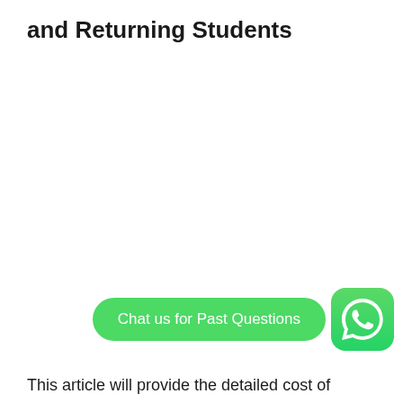and Returning Students
[Figure (other): Green WhatsApp-style chat button reading 'Chat us for Past Questions' with a WhatsApp icon circle to the right]
This article will provide the detailed cost of